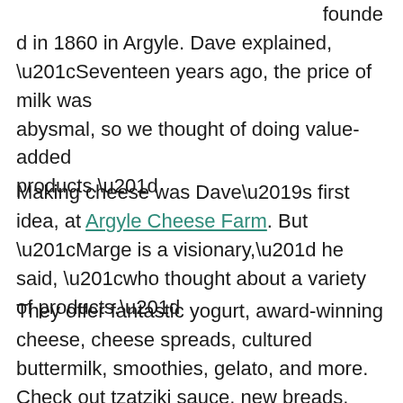founde d in 1860 in Argyle. Dave explained, “Seventeen years ago, the price of milk was abysmal, so we thought of doing value-added products.”
Making cheese was Dave’s first idea, at Argyle Cheese Farm. But “Marge is a visionary,” he said, “who thought about a variety of products.”
They offer fantastic yogurt, award-winning cheese, cheese spreads, cultured buttermilk, smoothies, gelato, and more. Check out tzatziki sauce, new breads, doughnuts, and baked goods.